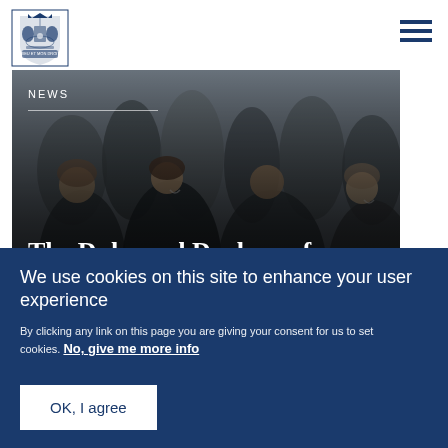[Figure (logo): Royal coat of arms logo - UK Government royal crest in blue and gold]
[Figure (photo): News article photo showing people gathered together outdoors, with NEWS label and headline overlaid. Title: 'The Duke and Duchess of Cambridge visit Bradford'. Published 15 January 2020.]
We use cookies on this site to enhance your user experience
By clicking any link on this page you are giving your consent for us to set cookies. No, give me more info
OK, I agree